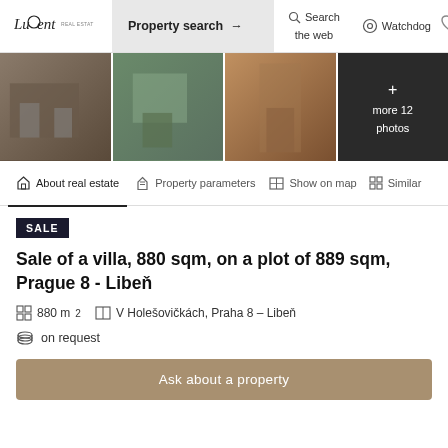Luxent | Property search → | Search the web | Watchdog
[Figure (photo): Four property photos in a horizontal strip: exterior of villa (brown/grey tones), building with trees (green tones), interior doorway (warm tones), dark panel with text '+ more 12 photos']
About real estate | Property parameters | Show on map | Similar
SALE
Sale of a villa, 880 sqm, on a plot of 889 sqm, Prague 8 - Libeň
880 m² | V Holešovičkách, Praha 8 – Libeň
on request
Ask about a property